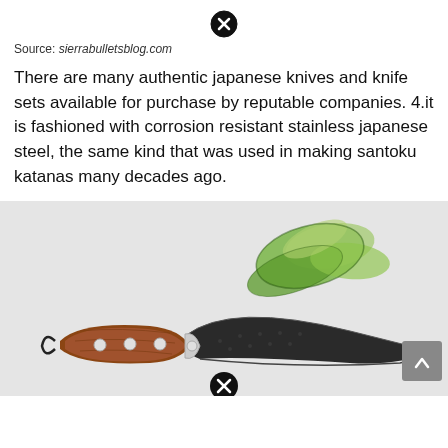[Figure (other): Close/dismiss icon at top center — black circle with X]
Source: sierrabulletsblog.com
There are many authentic japanese knives and knife sets available for purchase by reputable companies. 4.it is fashioned with corrosion resistant stainless japanese steel, the same kind that was used in making santoku katanas many decades ago.
[Figure (photo): Photo of a curved knife with wooden handle and sliced cucumber/vegetable pieces on a light grey background. A scroll-up button is visible at bottom right. A close icon appears at the bottom center.]